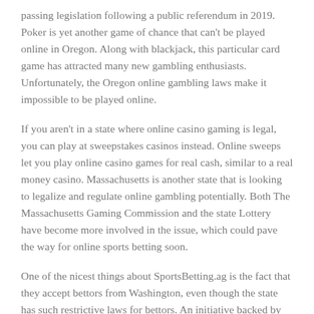passing legislation following a public referendum in 2019. Poker is yet another game of chance that can't be played online in Oregon. Along with blackjack, this particular card game has attracted many new gambling enthusiasts. Unfortunately, the Oregon online gambling laws make it impossible to be played online.
If you aren't in a state where online casino gaming is legal, you can play at sweepstakes casinos instead. Online sweeps let you play online casino games for real cash, similar to a real money casino. Massachusetts is another state that is looking to legalize and regulate online gambling potentially. Both The Massachusetts Gaming Commission and the state Lottery have become more involved in the issue, which could pave the way for online sports betting soon.
One of the nicest things about SportsBetting.ag is the fact that they accept bettors from Washington, even though the state has such restrictive laws for bettors. An initiative backed by 18 Nati...